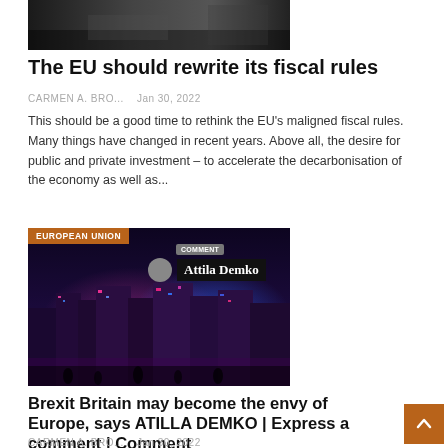[Figure (photo): Dark outdoor scene, partial view at top of page]
The EU should rewrite its fiscal rules
CARMEN A. BRO...    Jan 30, 2022
This should be a good time to rethink the EU's maligned fiscal rules. Many things have changed in recent years. Above all, the desire for public and private investment – to accelerate the decarbonisation of the economy as well as...
[Figure (photo): Night photo of illuminated European-style buildings with red and blue lights. Overlaid labels: EUROPEAN UNION, COMMENT badge, Attila Demko author name.]
Brexit Britain may become the envy of Europe, says ATILLA DEMKO | Express a comment | Comment
CARMEN A. BRO...    Jan 30, 2022
Dr. Attila Demkó is the director of the Center for Geopolitics (Image: